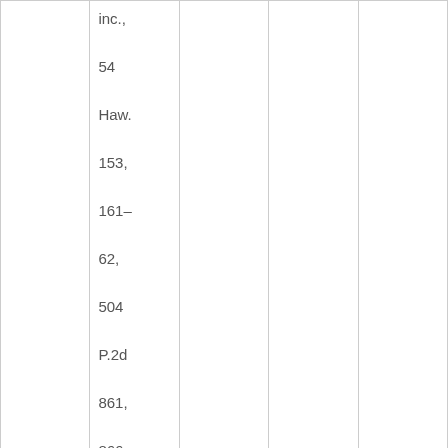|  | inc., 54 Haw. 153, 161–62, 504 P.2d 861, 866 (1972). |  |  |  |
|  |  |  | Idaho courts have cited the |  |